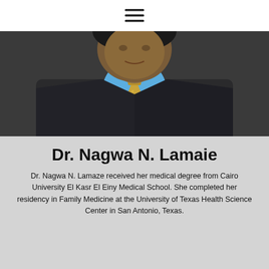[Figure (photo): Hamburger menu icon (three horizontal lines) centered at the top of the page on a white background]
[Figure (photo): Portrait photo of a man in a dark suit jacket with a blue shirt and gold patterned tie, cropped from shoulders up, against a dark background]
Dr. Nagwa N. Lamaie
Dr. Nagwa N. Lamaze received her medical degree from Cairo University El Kasr El Einy Medical School. She completed her residency in Family Medicine at the University of Texas Health Science Center in San Antonio, Texas.